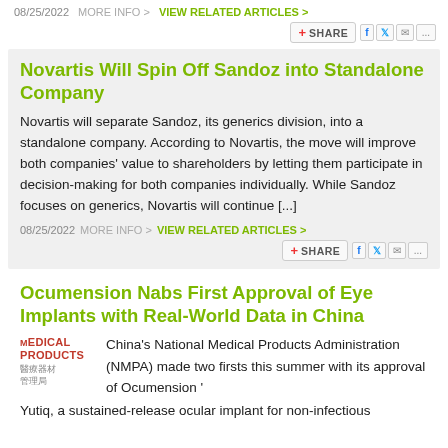08/25/2022  MORE INFO >  VIEW RELATED ARTICLES >
[Figure (other): Share button with Facebook, Twitter, mail icons]
Novartis Will Spin Off Sandoz into Standalone Company
Novartis will separate Sandoz, its generics division, into a standalone company. According to Novartis, the move will improve both companies' value to shareholders by letting them participate in decision-making for both companies individually. While Sandoz focuses on generics, Novartis will continue [...]
08/25/2022  MORE INFO >  VIEW RELATED ARTICLES >
[Figure (other): Share button with Facebook, Twitter, mail icons]
Ocumension Nabs First Approval of Eye Implants with Real-World Data in China
[Figure (logo): EDICAL PRODUCTS logo with Chinese characters]
China's National Medical Products Administration (NMPA) made two firsts this summer with its approval of Ocumension ' Yutiq, a sustained-release ocular implant for non-infectious